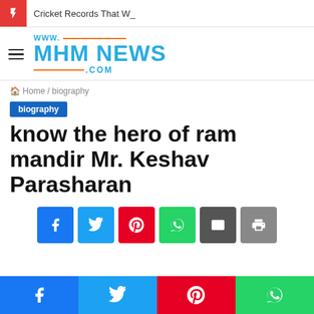Cricket Records That W_
[Figure (logo): MHM News website logo with www.MHMNEWS.COM text in blue and orange]
Home / biography
biography
know the hero of ram mandir Mr. Keshav Parasharan
[Figure (infographic): Social share buttons: Facebook, Twitter, Pinterest, WhatsApp, Email, Print]
Social share bottom bar: Facebook, Twitter, Pinterest, WhatsApp